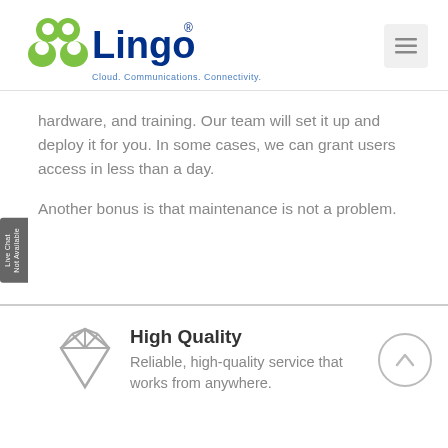[Figure (logo): Lingo logo with green cloud/people icon and blue text 'Lingo' with registered trademark symbol, tagline 'Cloud. Communications. Connectivity.']
hardware, and training. Our team will set it up and deploy it for you. In some cases, we can grant users access in less than a day.
Another bonus is that maintenance is not a problem.
High Quality
Reliable, high-quality service that works from anywhere.